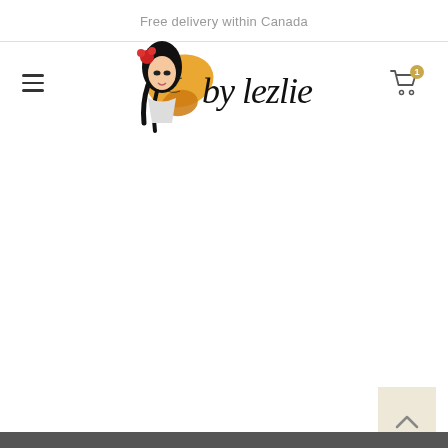Free delivery within Canada
[Figure (logo): By Lezlie brand logo featuring a girl with butterfly wings illustration and cursive 'by lezlie' text]
[Figure (infographic): Scroll to top button - beige/cream square with upward chevron arrow]